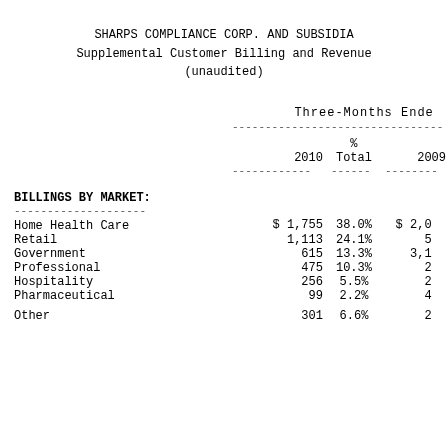SHARPS COMPLIANCE CORP. AND SUBSIDIARIES
Supplemental Customer Billing and Revenue
(unaudited)
|  | 2010 | % Total | 2009 |
| --- | --- | --- | --- |
| BILLINGS BY MARKET: |  |  |  |
| Home Health Care | $ 1,755 | 38.0% | $ 2,0__ |
| Retail | 1,113 | 24.1% | 5__ |
| Government | 615 | 13.3% | 3,1__ |
| Professional | 475 | 10.3% | 2__ |
| Hospitality | 256 | 5.5% | 2__ |
| Pharmaceutical | 99 | 2.2% | 4__ |
| Other | 301 | 6.6% | 2__ |